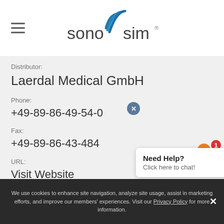[Figure (logo): SonoSim logo with blue wifi-like arc design above the text 'sonosim']
Distributor:
Laerdal Medical GmbH
Phone:
+49-89-86-49-54-0
Fax:
+49-89-86-43-484
URL:
Visit Website
Address:
Lilienthalstr. 5
82178 Puchheim
Germany
Need Help?
Click here to chat!
We use cookies to enhance site navigation, analyze site usage, assist in marketing efforts, and improve our members' experiences. Visit our Privacy Policy for more information.